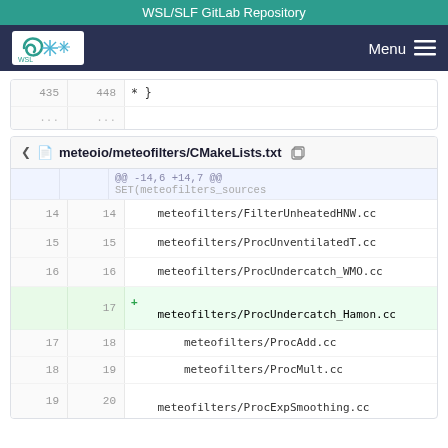WSL/SLF GitLab Repository
[Figure (screenshot): WSL/SLF logo in nav bar with Menu button]
| old | new | code |
| --- | --- | --- |
| 435 | 448 | * } |
| ... | ... |  |
meteoio/meteofilters/CMakeLists.txt
| old | new | code |
| --- | --- | --- |
| ... | ... | @@ -14,6 +14,7 @@
SET(meteofilters_sources |
| 14 | 14 | meteofilters/FilterUnheatedHNW.cc |
| 15 | 15 | meteofilters/ProcUnventilatedT.cc |
| 16 | 16 | meteofilters/ProcUndercatch_WMO.cc |
|  | 17 | + meteofilters/ProcUndercatch_Hamon.cc |
| 17 | 18 | meteofilters/ProcAdd.cc |
| 18 | 19 | meteofilters/ProcMult.cc |
| 19 | 20 | meteofilters/ProcExpSmoothing.cc |